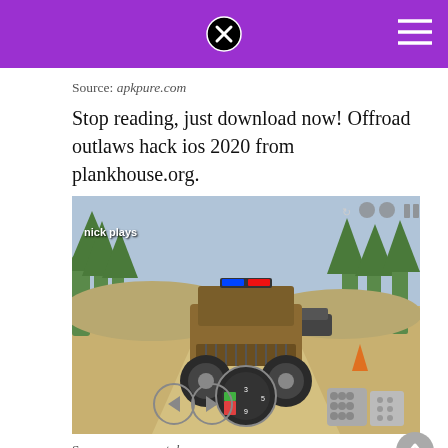Source: apkpure.com
Stop reading, just download now! Offroad outlaws hack ios 2020 from plankhouse.org.
[Figure (screenshot): Offroad Outlaws mobile game screenshot showing a 4x4 truck with police light bar driving on a sandy off-road track with trees in the background. HUD elements include steering wheel controls, pedals, speedometer. Watermark 'nick plays' visible.]
Source: www.youtube.com
Main features to enjoy in offroad outlaws.